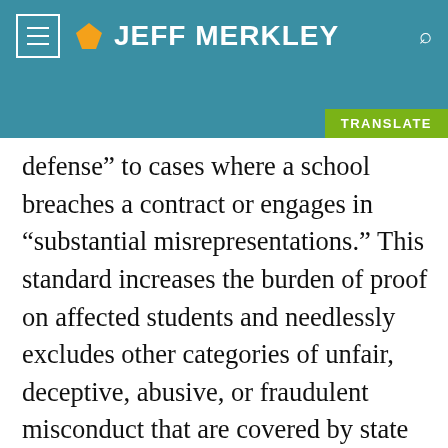JEFF MERKLEY
defense” to cases where a school breaches a contract or engages in “substantial misrepresentations.” This standard increases the burden of proof on affected students and needlessly excludes other categories of unfair, deceptive, abusive, or fraudulent misconduct that are covered by state laws to protect them, including: affirmative-disclosure obligations; debt collection requirements; protections against deceptive advertising; prohibitions on unfair business practices; federal protections